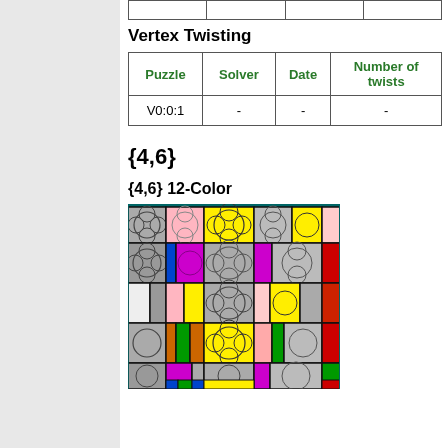|   |   |   |   |
Vertex Twisting
| Puzzle | Solver | Date | Number of twists |
| --- | --- | --- | --- |
| V0:0:1 | - | - | - |
{4,6}
{4,6} 12-Color
[Figure (illustration): 3D rendered image of a {4,6} 12-Color puzzle showing a cube-like structure with colorful patterned tiles in yellow, magenta, gray, green, orange, red, blue, pink, and white, each tile featuring overlapping circle patterns.]